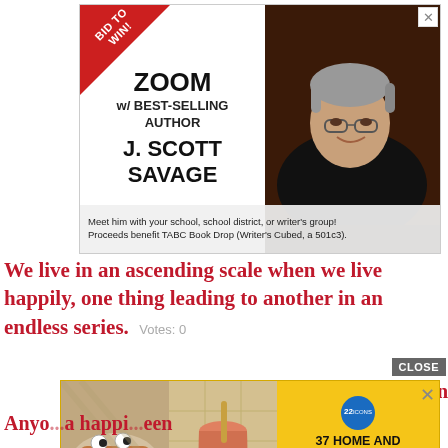[Figure (infographic): Advertisement banner: 'BID TO WIN! ZOOM w/ BEST-SELLING AUTHOR J. SCOTT SAVAGE' with photo of a smiling man with grey hair and glasses wearing a black shirt, on a dark wood background. Caption: 'Meet him with your school, school district, or writer's group! Proceeds benefit TABC Book Drop (Writer's Cubed, a 501c3).']
We live in an ascending scale when we live happily, one thing leading to another in an endless series.  Votes: 0
[Figure (infographic): Advertisement banner with yellow background showing two food/drink images on the left and text: '22 / 37 HOME AND KITCHEN ITEMS EVERYONE SHOULD OWN' on the right.]
enson
Anyo...a happi...een